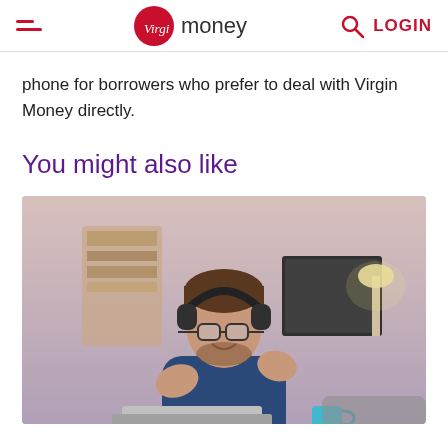Virgin Money — LOGIN
phone for borrowers who prefer to deal with Virgin Money directly.
You might also like
[Figure (photo): Man wearing headphones and glasses, sitting at a laptop, gesturing with hands, smiling — working from home or on a video call]